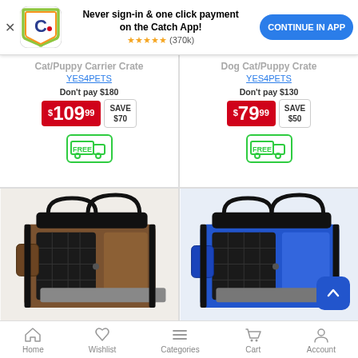[Figure (screenshot): App banner with Catch logo, text 'Never sign-in & one click payment on the Catch App!', 5-star rating (370k), and 'CONTINUE IN APP' button]
Cat/Puppy Carrier Crate
YES4PETS
Don't pay $180
$109.99 SAVE $70
[Figure (illustration): Free shipping truck icon in green]
Dog Cat/Puppy Crate
YES4PETS
Don't pay $130
$79.99 SAVE $50
[Figure (illustration): Free shipping truck icon in green]
[Figure (photo): Brown/tan soft-sided pet carrier crate with black mesh and side pockets]
[Figure (photo): Blue soft-sided pet carrier crate with black mesh and side pockets]
Home  Wishlist  Categories  Cart  Account